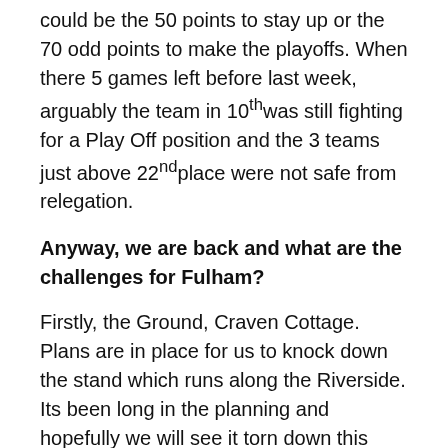could be the 50 points to stay up or the 70 odd points to make the playoffs. When there 5 games left before last week, arguably the team in 10th was still fighting for a Play Off position and the 3 teams just above 22nd place were not safe from relegation.
Anyway, we are back and what are the challenges for Fulham?
Firstly, the Ground, Craven Cottage. Plans are in place for us to knock down the stand which runs along the Riverside. Its been long in the planning and hopefully we will see it torn down this summer and work begin. What this will do is give the ground an odd three-sided stadium, a reduced capacity of around 19,000 with limited away fans. If we maintain our average crowd from the four years as we did last time in the Championship, there's a good chance almost every game could be sold out. Playing wise with no stand the